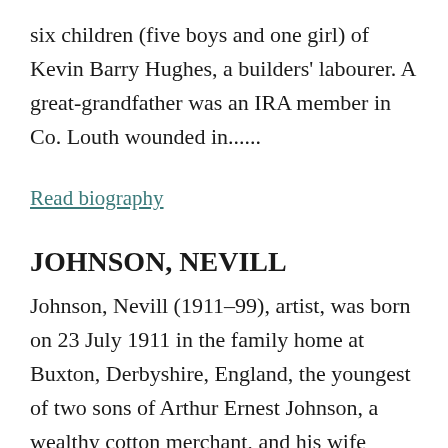six children (five boys and one girl) of Kevin Barry Hughes, a builders' labourer. A great-grandfather was an IRA member in Co. Louth wounded in......
Read biography
JOHNSON, NEVILL
Johnson, Nevill (1911–99), artist, was born on 23 July 1911 in the family home at Buxton, Derbyshire, England, the youngest of two sons of Arthur Ernest Johnson, a wealthy cotton merchant, and his wife Florence Isobel (née Townsend). His parents' marriage ended (c.1930)